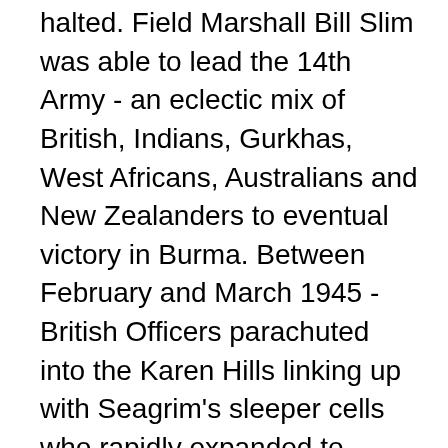halted. Field Marshall Bill Slim was able to lead the 14th Army - an eclectic mix of British, Indians, Gurkhas, West Africans, Australians and New Zealanders to eventual victory in Burma. Between February and March 1945 - British Officers parachuted into the Karen Hills linking up with Seagrim's sleeper cells who rapidly expanded to 12,000 guerrilla troops. As Slim's conventional forces advanced into Burma, Seagrim's Karen guerrillas were able to attack the retreating Japanese troops. By the end of March 1945 Aung San (father of Aung San Suu Kyi the current Leader of Burma/Myanmar) and his Burmese Independence Army had risen up against the occupying Japanese. However the way to the critical port of Rangoon was blocked by 70,000 Japanese troops of the 28th Army. As they attempted to retreat and defend Rangoon - the only usable port in Burma, Seagrim's Guerrillas inflicted massive casualties on the Japanese. Twice as many Japanese were killed in the Karen Hills as were killed